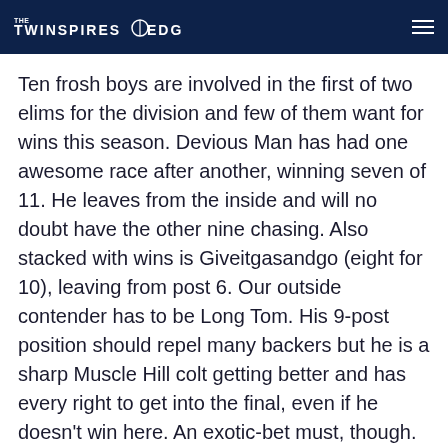THE TWINSPIRES EDGE
Ten frosh boys are involved in the first of two elims for the division and few of them want for wins this season. Devious Man has had one awesome race after another, winning seven of 11. He leaves from the inside and will no doubt have the other nine chasing. Also stacked with wins is Giveitgasandgo (eight for 10), leaving from post 6. Our outside contender has to be Long Tom. His 9-post position should repel many backers but he is a sharp Muscle Hill colt getting better and has every right to get into the final, even if he doesn’t win here. An exotic-bet must, though.
Two-year-old colt trot, elim two